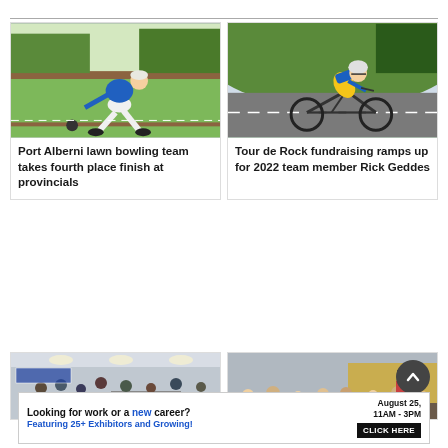[Figure (photo): Person in blue shirt lawn bowling on green grass, leaning forward to release ball]
Port Alberni lawn bowling team takes fourth place finish at provincials
[Figure (photo): Cyclist in blue and yellow jersey wearing helmet riding road bike on pavement with green hillside behind]
Tour de Rock fundraising ramps up for 2022 team member Rick Geddes
[Figure (photo): Indoor event with people gathered around tables in a large hall with overhead lights]
[Figure (photo): Crowd gathered in industrial building with person in traditional Scottish attire playing bagpipes]
Looking for work or a new career? August 25, 11AM - 3PM Featuring 25+ Exhibitors and Growing! CLICK HERE